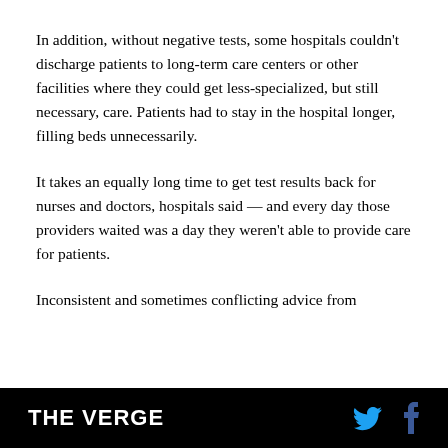In addition, without negative tests, some hospitals couldn't discharge patients to long-term care centers or other facilities where they could get less-specialized, but still necessary, care. Patients had to stay in the hospital longer, filling beds unnecessarily.
It takes an equally long time to get test results back for nurses and doctors, hospitals said — and every day those providers waited was a day they weren't able to provide care for patients.
Inconsistent and sometimes conflicting advice from
THE VERGE